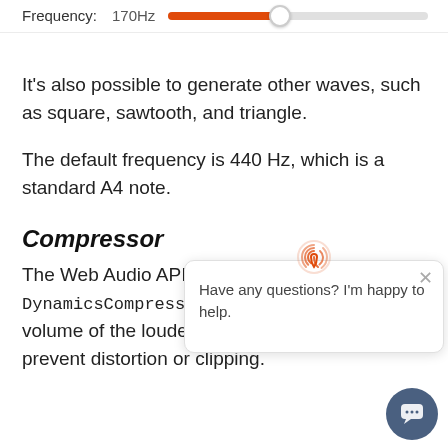Type: Sine
Frequency: 170Hz [slider showing ~43% fill]
It's also possible to generate other waves, such as square, sawtooth, and triangle.
The default frequency is 440 Hz, which is a standard A4 note.
Compressor
The Web Audio API provides a DynamicsCompressorNode, which lowers the volume of the loudest parts of the signal, helps prevent distortion or clipping.
[Figure (screenshot): Chat tooltip popup saying 'Have any questions? I'm happy to help.' with a fingerprint icon and close button]
[Figure (screenshot): Round dark blue chat button in lower right corner]